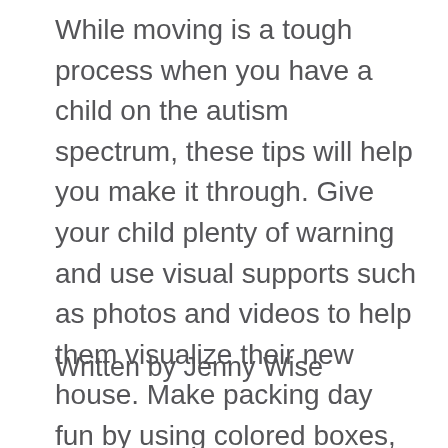While moving is a tough process when you have a child on the autism spectrum, these tips will help you make it through. Give your child plenty of warning and use visual supports such as photos and videos to help them visualize their new house. Make packing day fun by using colored boxes, and consider a back-up plan for moving day if things go awry.
Written by Jenny Wise